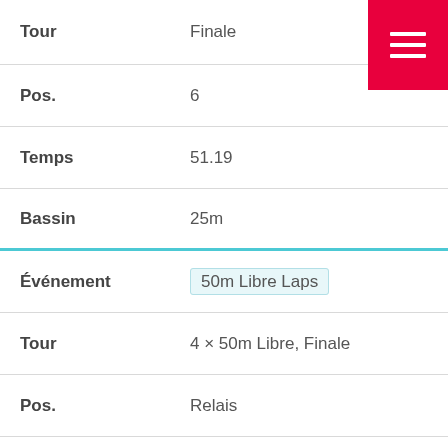| Label | Value |
| --- | --- |
| Tour | Finale |
| Pos. | 6 |
| Temps | 51.19 |
| Bassin | 25m |
| Événement | 50m Libre Laps |
| Tour | 4 × 50m Libre, Finale |
| Pos. | Relais |
| Temps | 39.70 |
| Bassin | 25m |